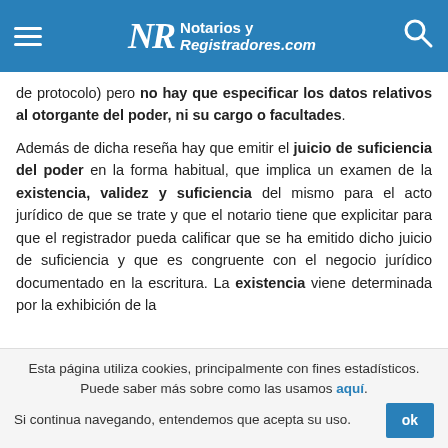Notarios y Registradores.com
de protocolo) pero no hay que especificar los datos relativos al otorgante del poder, ni su cargo o facultades.
Además de dicha reseña hay que emitir el juicio de suficiencia del poder en la forma habitual, que implica un examen de la existencia, validez y suficiencia del mismo para el acto jurídico de que se trate y que el notario tiene que explicitar para que el registrador pueda calificar que se ha emitido dicho juicio de suficiencia y que es congruente con el negocio jurídico documentado en la escritura. La existencia viene determinada por la exhibición de la
Esta página utiliza cookies, principalmente con fines estadísticos. Puede saber más sobre como las usamos aquí. Si continua navegando, entendemos que acepta su uso.